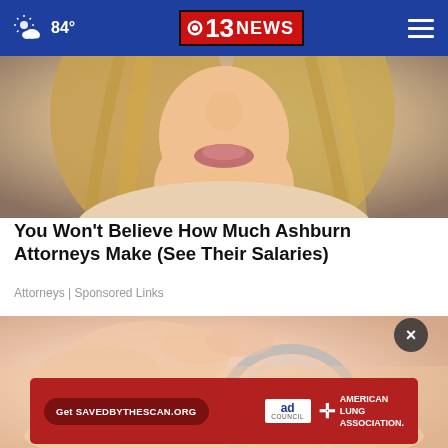84° | CBS 13 NEWS
[Figure (photo): Close-up photo of a blonde woman's face from nose down, blurred background]
You Won't Believe How Much Ashburn Attorneys Make (See Their Salaries)
Attorneys | Sponsored Links
[Figure (photo): Close-up blurred photo of hands holding a metallic tool near a person's face (beauty/skincare treatment)]
[Figure (screenshot): Red advertisement banner: Get SAVEDBYTHESCAN.ORG - Ad Council - American Lung Association]